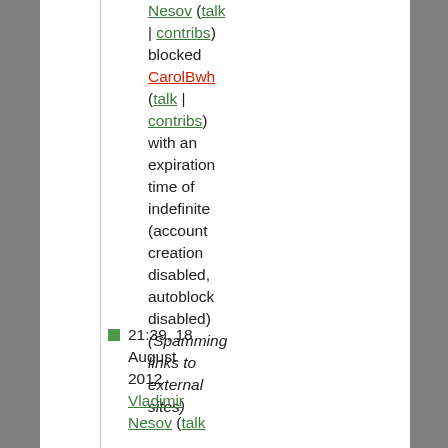Nesov (talk | contribs) blocked CarolBwh (talk | contribs) with an expiration time of indefinite (account creation disabled, autoblock disabled) (Spamming links to external sites)
21:39, 18 August 2012 Vladimir Nesov (talk